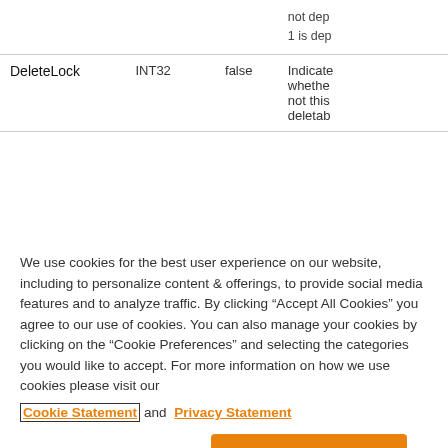|  | INT32 | false | Indicates whether or not this is deletab... |
| --- | --- | --- | --- |
|  |  |  | not dep...
1 is dep... |
| DeleteLock | INT32 | false | Indicates whether or not this deletab... |
We use cookies for the best user experience on our website, including to personalize content & offerings, to provide social media features and to analyze traffic. By clicking “Accept All Cookies” you agree to our use of cookies. You can also manage your cookies by clicking on the “Cookie Preferences” and selecting the categories you would like to accept. For more information on how we use cookies please visit our Cookie Statement and Privacy Statement